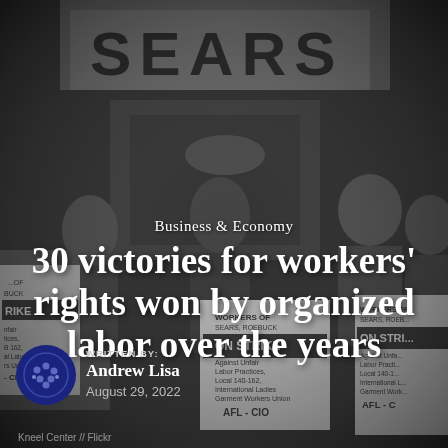[Figure (photo): Black and white photograph of workers picketing outside a Sears Roebuck store, holding AFL-CIO strike signs reading 'ON STRIKE Against Unfair Labor Practices, Local 140-162, International Ladies Garment Workers Union, AFL-CIO'. Multiple protesters visible in winter clothing.]
Business & Economy
30 victories for workers' rights won by organized labor over the years
WRITTEN BY:
Andrew Lisa
August 29, 2022
Kneel Center // Flickr